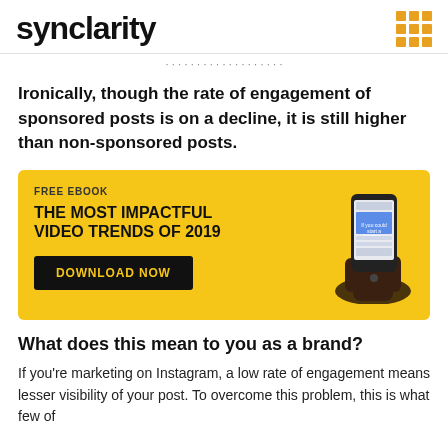synclarity
...y...y...
Ironically, though the rate of engagement of sponsored posts is on a decline, it is still higher than non-sponsored posts.
[Figure (infographic): Yellow banner ad for a free ebook titled 'THE MOST IMPACTFUL VIDEO TRENDS OF 2019' with a DOWNLOAD NOW button and a hand holding a smartphone on the right side.]
What does this mean to you as a brand?
If you're marketing on Instagram, a low rate of engagement means lesser visibility of your post. To overcome this problem, this is what few of